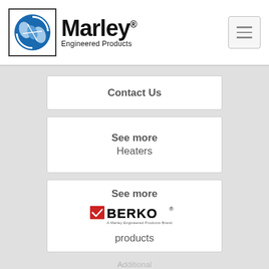[Figure (logo): Marley Engineered Products logo with globe/hands icon and bold text]
[Figure (other): Hamburger menu button with three horizontal lines]
Contact Us
See more Heaters
[Figure (logo): Berko brand logo - red and black text with checkmark]
See more Berko products